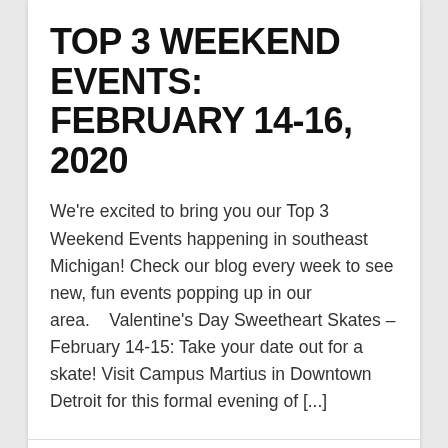TOP 3 WEEKEND EVENTS: FEBRUARY 14-16, 2020
We're excited to bring you our Top 3 Weekend Events happening in southeast Michigan! Check our blog every week to see new, fun events popping up in our area.    Valentine's Day Sweetheart Skates – February 14-15: Take your date out for a skate! Visit Campus Martius in Downtown Detroit for this formal evening of [...]
by cweyant3   📅 February 13, 2020   🔖 Weekend Events
Read More